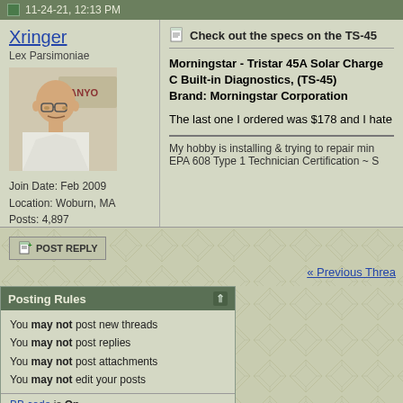11-24-21, 12:13 PM
Xringer
Lex Parsimoniae
[Figure (photo): Avatar photo of an older bald man with glasses, wearing a white shirt, in front of a sign with SANYO text]
Join Date: Feb 2009
Location: Woburn, MA
Posts: 4,897
Thanks: 111
Thanked 248 Times in 228 Posts
Check out the specs on the TS-45
Morningstar - Tristar 45A Solar Charge C Built-in Diagnostics, (TS-45)
Brand: Morningstar Corporation
The last one I ordered was $178 and I hate
My hobby is installing & trying to repair min EPA 608 Type 1 Technician Certification ~ S
[Figure (screenshot): POST REPLY button with document icon]
« Previous Threa
Posting Rules
You may not post new threads
You may not post replies
You may not post attachments
You may not edit your posts
BB code is On